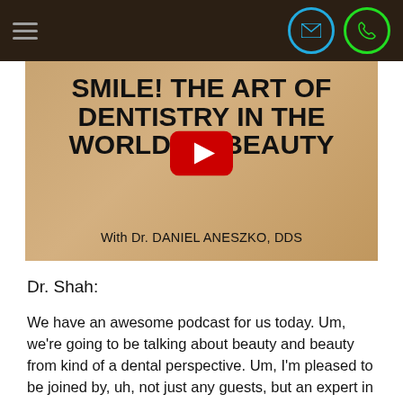Navigation header with hamburger menu, email icon, and phone icon
[Figure (screenshot): Video thumbnail with tan/kraft paper background showing title 'SMILE! THE ART OF DENTISTRY IN THE WORLD OF BEAUTY' with 'With Dr. DANIEL ANESZKO, DDS' and a YouTube-style red play button in the center.]
Dr. Shah:
We have an awesome podcast for us today. Um, we're going to be talking about beauty and beauty from kind of a dental perspective. Um, I'm pleased to be joined by, uh, not just any guests, but an expert in all things, uh, dental and oral aesthetics. Um, he actually is a kind of a, uh, a neighbor of sorts, uh, down the hallway.